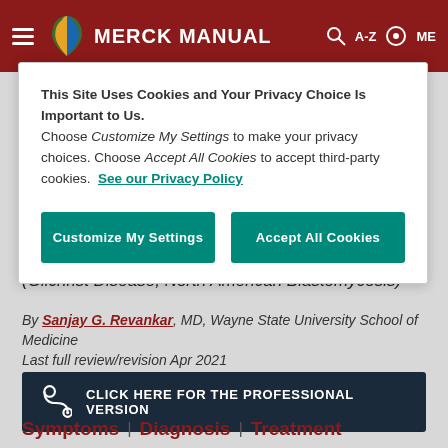MERCK MANUAL
This Site Uses Cookies and Your Privacy Choice Is Important to Us. Choose Customize My Settings to make your privacy choices. Choose Accept All Cookies to accept third-party cookies. See our Privacy Policy
Customize My Settings | Accept All Cookies
(Gilchrist Disease; North American Blastomycosis)
By Sanjay G. Revankar, MD, Wayne State University School of Medicine
Last full review/revision Apr 2021
CLICK HERE FOR THE PROFESSIONAL VERSION
Symptoms | Diagnosis | Treatment